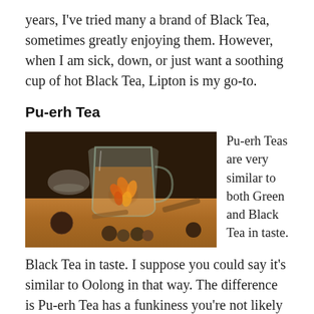years, I've tried many a brand of Black Tea, sometimes greatly enjoying them. However, when I am sick, down, or just want a soothing cup of hot Black Tea, Lipton is my go-to.
Pu-erh Tea
[Figure (photo): Glass mug of blooming tea with an orange flower inside, surrounded by dried tea balls and cinnamon sticks on a wooden surface, dark blurred background.]
Pu-erh Teas are very similar to both Green and Black Tea in taste. I suppose you could say it's similar to Oolong in that way. The difference is Pu-erh Tea has a funkiness you're not likely to find in